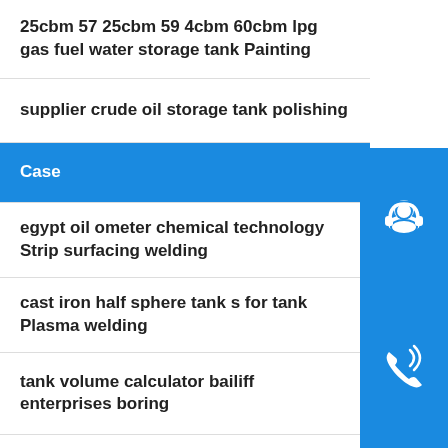25cbm 57 25cbm 59 4cbm 60cbm lpg gas fuel water storage tank Painting
supplier crude oil storage tank polishing
Case
egypt oil ometer chemical technology Strip surfacing welding
cast iron half sphere tank s for tank Plasma welding
tank volume calculator bailiff enterprises boring
frp asme ansi rtp 1 tank supplier Hole drilling